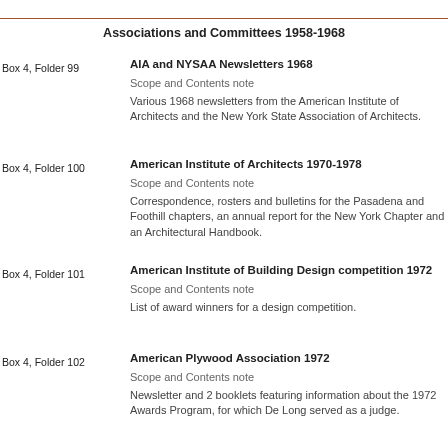Associations and Committees 1958-1968
Box 4, Folder 99
AIA and NYSAA Newsletters 1968
Scope and Contents note
Various 1968 newsletters from the American Institute of Architects and the New York State Association of Architects.
Box 4, Folder 100
American Institute of Architects 1970-1978
Scope and Contents note
Correspondence, rosters and bulletins for the Pasadena and Foothill chapters, an annual report for the New York Chapter and an Architectural Handbook.
Box 4, Folder 101
American Institute of Building Design competition 1972
Scope and Contents note
List of award winners for a design competition.
Box 4, Folder 102
American Plywood Association 1972
Scope and Contents note
Newsletter and 2 booklets featuring information about the 1972 Awards Program, for which De Long served as a judge.